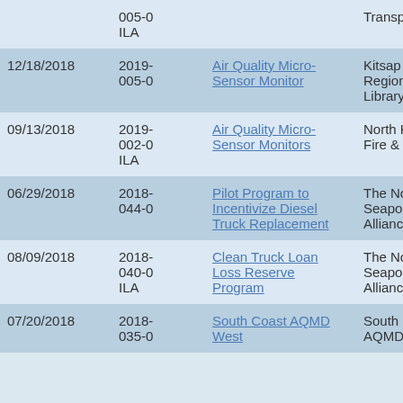| Date | ID | Program | Organization |
| --- | --- | --- | --- |
|  | 005-0
ILA |  | Transportation |
| 12/18/2018 | 2019-005-0 | Air Quality Micro-Sensor Monitor | Kitsap Regional Library |
| 09/13/2018 | 2019-002-0 ILA | Air Quality Micro-Sensor Monitors | North Kitsap Fire & Rescue |
| 06/29/2018 | 2018-044-0 | Pilot Program to Incentivize Diesel Truck Replacement | The Northwest Seaport Alliance |
| 08/09/2018 | 2018-040-0 ILA | Clean Truck Loan Loss Reserve Program | The Northwest Seaport Alliance |
| 07/20/2018 | 2018-035-0 | South Coast AQMD West | South Coast AQMD |